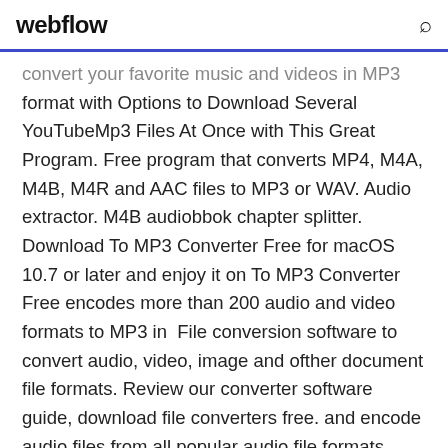webflow
convert your favorite music and videos in MP3 format with Options to Download Several YouTubeMp3 Files At Once with This Great Program. Free program that converts MP4, M4A, M4B, M4R and AAC files to MP3 or WAV. Audio extractor. M4B audiobbok chapter splitter. Download To MP3 Converter Free for macOS 10.7 or later and enjoy it on To MP3 Converter Free encodes more than 200 audio and video formats to MP3 in File conversion software to convert audio, video, image and ofther document file formats. Review our converter software guide, download file converters free. and encode audio files from all popular audio file formats including mp3, wav,